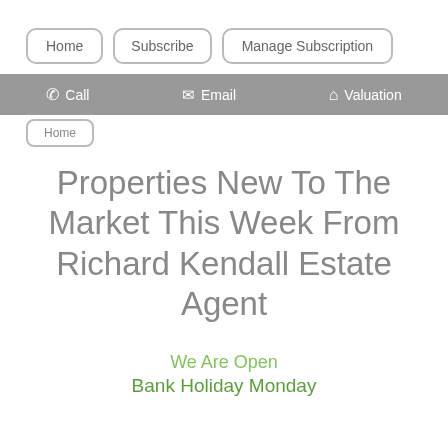Home | Subscribe | Manage Subscription
Call  Email  Valuation
Properties New To The Market This Week From Richard Kendall Estate Agent
We Are Open
Bank Holiday Monday